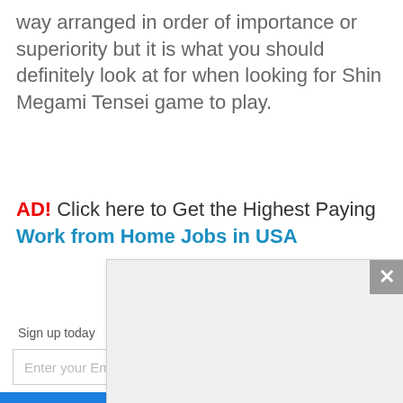way arranged in order of importance or superiority but it is what you should definitely look at for when looking for Shin Megami Tensei game to play.
AD! Click here to Get the Highest Paying Work from Home Jobs in USA
[Figure (screenshot): A partial email signup widget showing 'Sign up today', an email input field, and a blue submit button, partially obscured by a modal popup. The modal is a light gray rectangle with a gray X close button in the top-right corner. Below the modal are video playback controls: a play button and a mute button.]